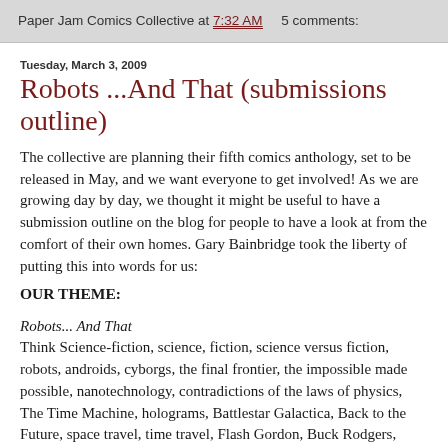Paper Jam Comics Collective at 7:32 AM    5 comments:
Tuesday, March 3, 2009
Robots ...And That (submissions outline)
The collective are planning their fifth comics anthology, set to be released in May, and we want everyone to get involved! As we are growing day by day, we thought it might be useful to have a submission outline on the blog for people to have a look at from the comfort of their own homes. Gary Bainbridge took the liberty of putting this into words for us:
OUR THEME:
Robots... And That
Think Science-fiction, science, fiction, science versus fiction, robots, androids, cyborgs, the final frontier, the impossible made possible, nanotechnology, contradictions of the laws of physics, The Time Machine, holograms, Battlestar Galactica, Back to the Future, space travel, time travel, Flash Gordon, Buck Rogers,